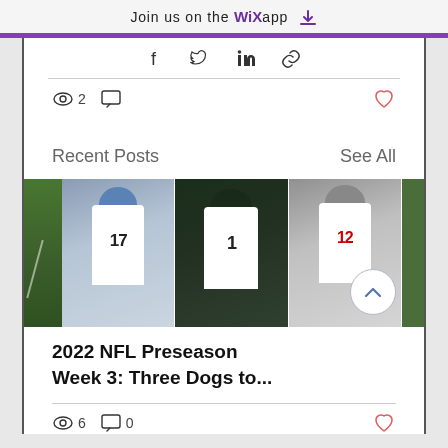Join us on the WiX app
[Figure (screenshot): Social share icons: Facebook, Twitter, LinkedIn, link]
2  [speech bubble icon]  [heart icon]
Recent Posts   See All
[Figure (photo): Three NFL players in white uniforms: #17 (Bills), #1 (Eagles), #12 (Buccaneers). Partial image left and right. Scroll-up button.]
2022 NFL Preseason Week 3: Three Dogs to...
6  0  [heart icon]